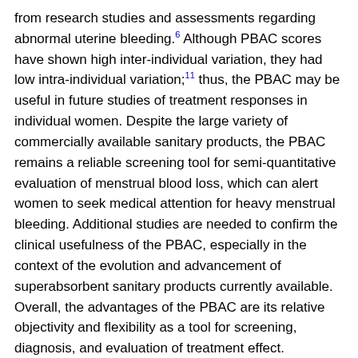from research studies and assessments regarding abnormal uterine bleeding.6 Although PBAC scores have shown high inter-individual variation, they had low intra-individual variation;11 thus, the PBAC may be useful in future studies of treatment responses in individual women. Despite the large variety of commercially available sanitary products, the PBAC remains a reliable screening tool for semi-quantitative evaluation of menstrual blood loss, which can alert women to seek medical attention for heavy menstrual bleeding. Additional studies are needed to confirm the clinical usefulness of the PBAC, especially in the context of the evolution and advancement of superabsorbent sanitary products currently available. Overall, the advantages of the PBAC are its relative objectivity and flexibility as a tool for screening, diagnosis, and evaluation of treatment effect.
Author contributions
Concept or design: JKY Ko, VYT Cheung.
Acquisition of data: JKY Ko, VYT Cheung.
Analysis or interpretation of data: All authors.
Drafting of the manuscript: JKY Ko.